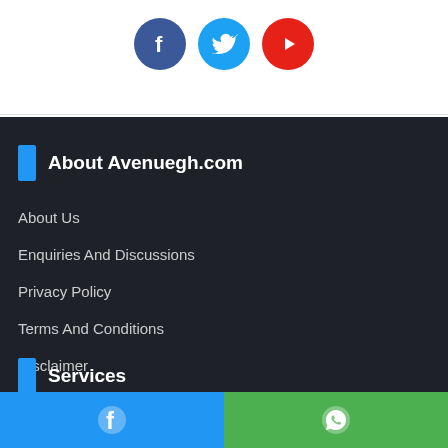[Figure (illustration): Three social media icons: Facebook (blue circle), Twitter (light blue circle), YouTube (red circle)]
About Avenuegh.com
About Us
Enquiries And Discussions
Privacy Policy
Terms And Conditions
Disclaimer
Services
[Figure (illustration): Bottom navigation bar with Facebook icon on blue background (left half) and WhatsApp icon on green background (right half)]